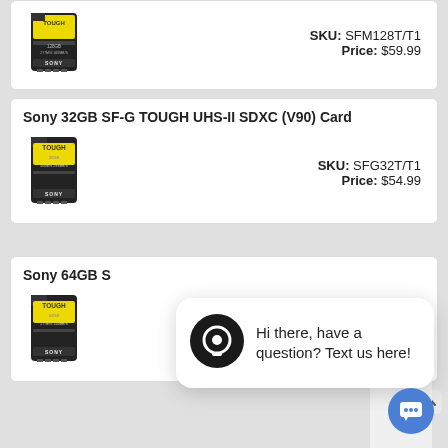[Figure (photo): Sony 128GB SF-M series memory card image with SKU SFM128T/T1 and Price $59.99]
SKU: SFM128T/T1
Price: $59.99
Sony 32GB SF-G TOUGH UHS-II SDXC (V90) Card
[Figure (photo): Sony 32GB SF-G TOUGH series memory card image]
SKU: SFG32T/T1
Price: $54.99
Sony 64GB S...
[Figure (photo): Sony 64GB TOUGH series memory card image]
Price: $39.99
close
Hi there, have a question? Text us here!